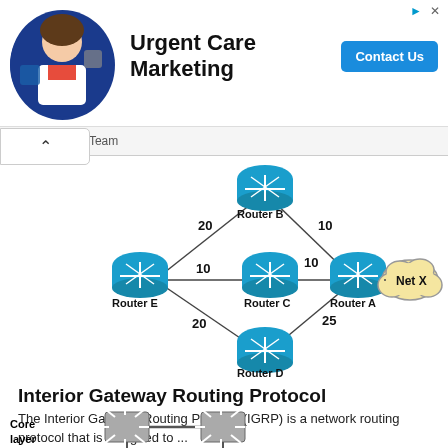[Figure (infographic): Advertisement banner for Urgent Care Marketing by GMR Web Team with avatar image, title, and Contact Us button]
[Figure (network-graph): Network topology diagram showing routers A, B, C, D, E connected in a diamond shape with Router E on the left, Router B on top, Router A on right connected to Net X cloud, Router D on bottom, Router C in center. Link costs labeled: E-B=20, B-A=10, E-C=10, C-A=10, C-A lower path=25, E-D=20.]
Interior Gateway Routing Protocol
The Interior Gateway Routing Protocol (IGRP) is a network routing protocol that is designed to ...
[Figure (network-graph): Core layer diagram showing two switch/hub devices connected by a horizontal line, with vertical connections below each device]